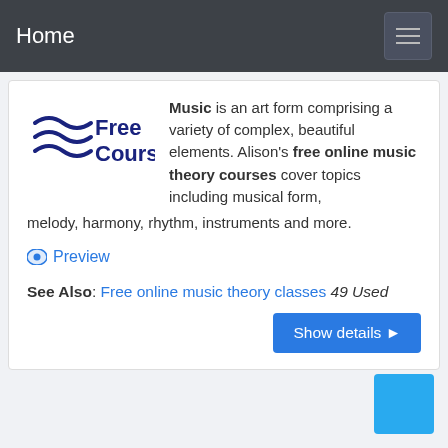Home
[Figure (logo): Free Courses logo with wave lines and text 'Free Courses']
Music is an art form comprising a variety of complex, beautiful elements. Alison's free online music theory courses cover topics including musical form, melody, harmony, rhythm, instruments and more.
Preview
See Also: Free online music theory classes 49 Used
Show details ▶